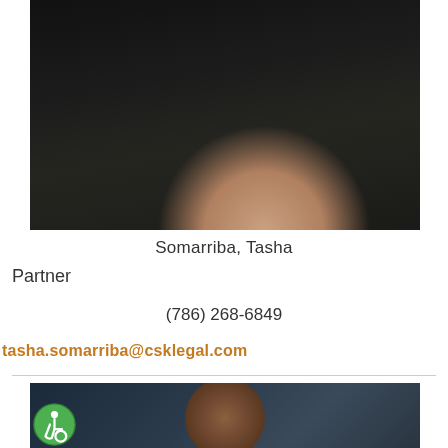[Figure (photo): Professional headshot photo of Tasha Somarriba, showing person in dark suit against dark background, cropped to show partial torso/neck area]
Somarriba, Tasha
Partner
(786) 268-6849
tasha.somarriba@csklegal.com
[Figure (photo): Professional headshot photo of second attorney, showing person with brown hair against blue-grey background, partially visible]